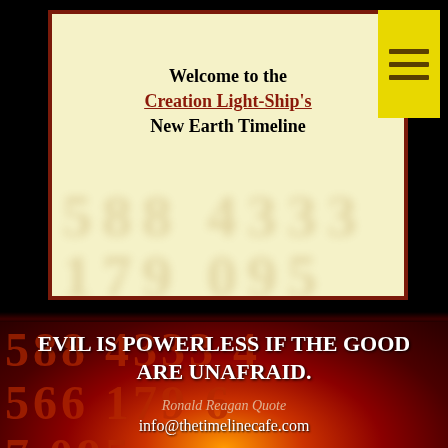Welcome to the Creation Light-Ship's New Earth Timeline
EVIL IS POWERLESS IF THE GOOD ARE UNAFRAID.
Ronald Reagan Quote
info@thetimelinecafe.com